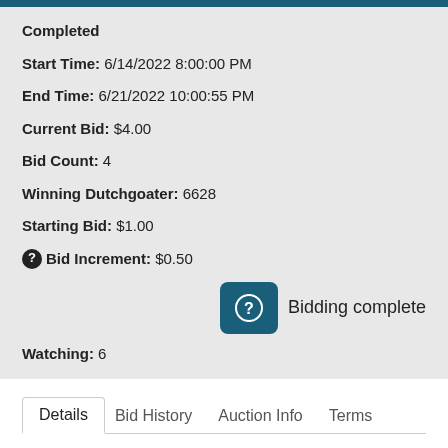Completed
Start Time: 6/14/2022 8:00:00 PM
End Time: 6/21/2022 10:00:55 PM
Current Bid: $4.00
Bid Count: 4
Winning Dutchgoater: 6628
Starting Bid: $1.00
Bid Increment: $0.50
Bidding complete
Watching: 6
Details | Bid History | Auction Info | Terms
Item Location | Contacts | Removal Times